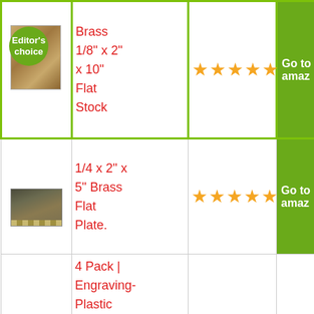| Image | Product | Rating | Link |
| --- | --- | --- | --- |
| [Editor's choice badge + wood image] | Brass 1/8" x 2" x 10" Flat Stock | ★★★★★ | Go to amaz... |
| [brass plate image] | 1/4 x 2" x 5" Brass Flat Plate. | ★★★★★ | Go to amaz... |
|  | 4 Pack | Engraving-Plastic Laminate-Sheet... |  |  |